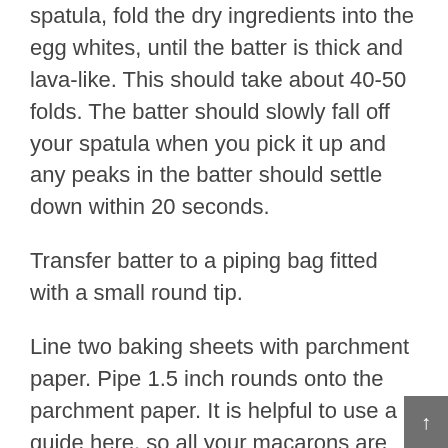spatula, fold the dry ingredients into the egg whites, until the batter is thick and lava-like. This should take about 40-50 folds. The batter should slowly fall off your spatula when you pick it up and any peaks in the batter should settle down within 20 seconds.
Transfer batter to a piping bag fitted with a small round tip.
Line two baking sheets with parchment paper. Pipe 1.5 inch rounds onto the parchment paper. It is helpful to use a guide here, so all your macarons are the same size. Once all the rounds are piped out, slam the baking sheet against a flat, stable surface, then rotate and slam